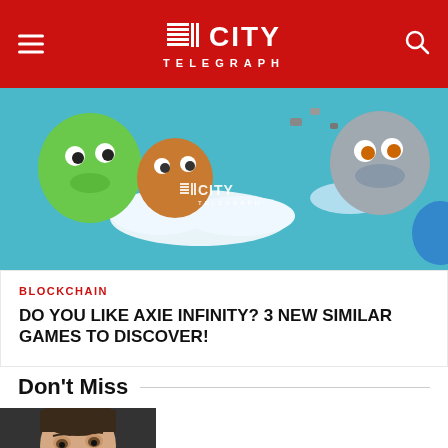CITY TELEGRAPH
[Figure (illustration): Colorful animated game art showing fantasy creatures in a blue sky with clouds — Axie Infinity style. City Telegraph watermark logo centered on image.]
BLOCKCHAIN
DO YOU LIKE AXIE INFINITY? 3 NEW SIMILAR GAMES TO DISCOVER!
Don't Miss
[Figure (photo): Close-up photo of a man's face, appears to be Elon Musk, with paparazzi cameras visible in the background.]
GLOBAL NEWS